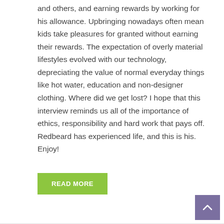and others, and earning rewards by working for his allowance. Upbringing nowadays often mean kids take pleasures for granted without earning their rewards. The expectation of overly material lifestyles evolved with our technology, depreciating the value of normal everyday things like hot water, education and non-designer clothing. Where did we get lost? I hope that this interview reminds us all of the importance of ethics, responsibility and hard work that pays off. Redbeard has experienced life, and this is his. Enjoy!
READ MORE
[Figure (other): Scroll-to-top button with an upward caret arrow, purple/mauve background, positioned bottom-right corner]